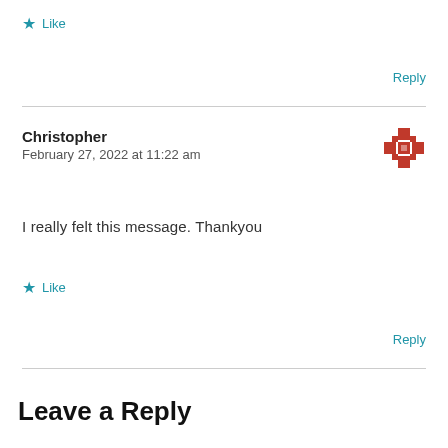★ Like
Reply
Christopher
February 27, 2022 at 11:22 am
[Figure (illustration): Red decorative cross/snowflake avatar icon]
I really felt this message. Thankyou
★ Like
Reply
Leave a Reply